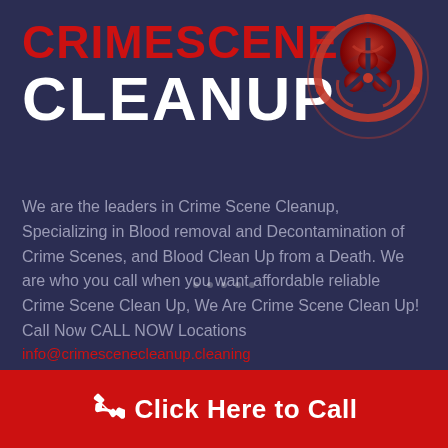CRIMESCENE CLEANUP
[Figure (illustration): Red biohazard symbol on dark background]
We are the leaders in Crime Scene Cleanup, Specializing in Blood removal and Decontamination of Crime Scenes, and Blood Clean Up from a Death. We are who you call when you want affordable reliable Crime Scene Clean Up, We Are Crime Scene Clean Up! Call Now CALL NOW Locations
info@crimescenecleanup.cleaning
[Figure (illustration): Twitter and Facebook social media icons]
Click Here to Call